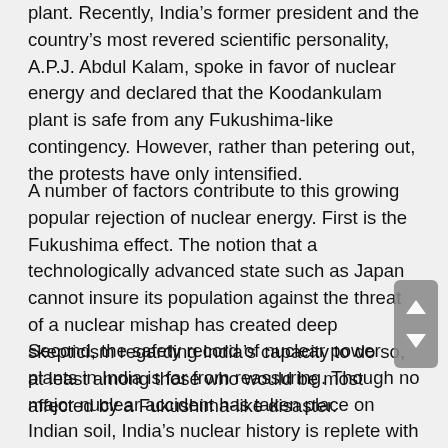plant. Recently, India’s former president and the country’s most revered scientific personality, A.P.J. Abdul Kalam, spoke in favor of nuclear energy and declared that the Koodankulam plant is safe from any Fukushima-like contingency. However, rather than petering out, the protests have only intensified.
A number of factors contribute to this growing popular rejection of nuclear energy. First is the Fukushima effect. The notion that a technologically advanced state such as Japan cannot insure its population against the threat of a nuclear mishap has created deep skepticism regarding India’s capacity to do so, at least among those who would be most affected by a Fukushima-like disaster.
Second, the safety record of nuclear power plants in India is far from reassuring. Though no major nuclear accident has taken place on Indian soil, India’s nuclear history is replete with small-to-medium-level accidents. For example, in 1993, a fire broke out in the first unit of the Narora nuclear plant, which led to a